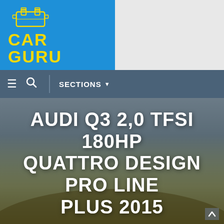[Figure (logo): CAR GURU logo with engine icon on blue background]
≡  🔍  SECTIONS ▼
AUDI Q3 2.0 TFSI 180HP QUATTRO DESIGN PRO LINE PLUS 2015
by CAR GURU
FEBRUARY 25, 2019